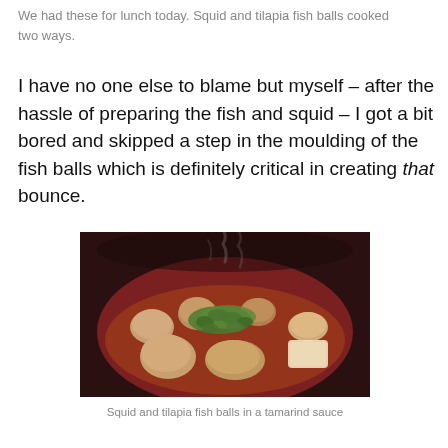We had these for lunch today. Squid and tilapia fish balls cooked two ways.
I have no one else to blame but myself – after the hassle of preparing the fish and squid – I got a bit bored and skipped a step in the moulding of the fish balls which is definitely critical in creating that bounce.
[Figure (photo): A steaming red bowl filled with squid and tilapia fish balls in broth, garnished with sliced green onions.]
Squid and tilapia fish balls in a tamarind sauce